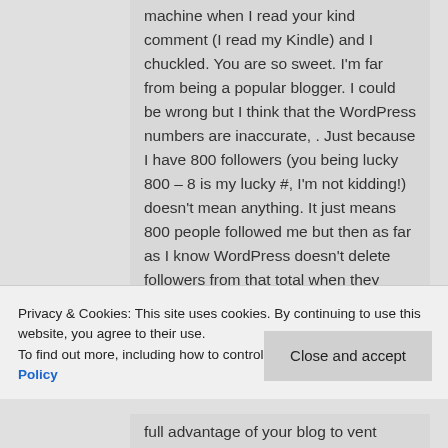machine when I read your kind comment (I read my Kindle) and I chuckled. You are so sweet. I'm far from being a popular blogger. I could be wrong but I think that the WordPress numbers are inaccurate, . Just because I have 800 followers (you being lucky 800 – 8 is my lucky #, I'm not kidding!) doesn't mean anything. It just means 800 people followed me but then as far as I know WordPress doesn't delete followers from that total when they unfollow, if that makes sense. (If anyone else...
Privacy & Cookies: This site uses cookies. By continuing to use this website, you agree to their use.
To find out more, including how to control cookies, see here: Cookie Policy
Close and accept
full advantage of your blog to vent...